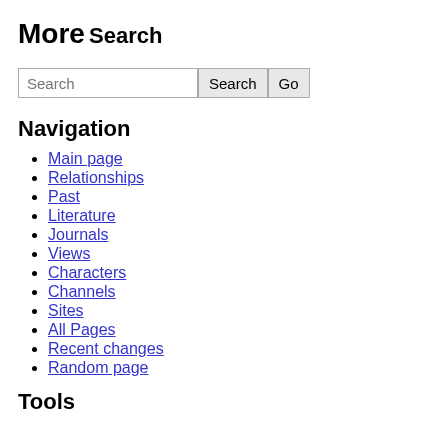More
Search
Search [input] Search Go
Navigation
Main page
Relationships
Past
Literature
Journals
Views
Characters
Channels
Sites
All Pages
Recent changes
Random page
Tools